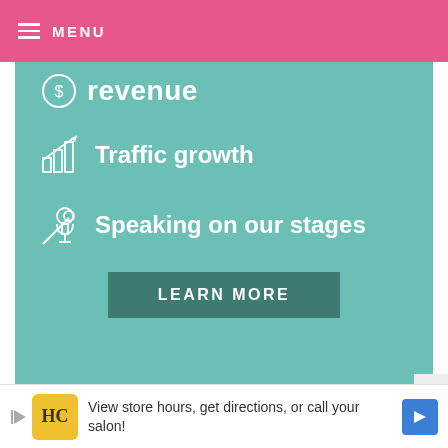MENU
[Figure (infographic): Teal banner with list items: Revenue (partially visible), Traffic growth (with bar chart icon), Speaking on our stages (with microphone icon), and a LEARN MORE button]
New York & Boston Book Signings
Unfortunately, the Paramus, NJ signing at Chef Central that was cancelled due to Superstorm Sandy wasn't able to be rescheduled before the holidays.
View store hours, get directions, or call your salon!